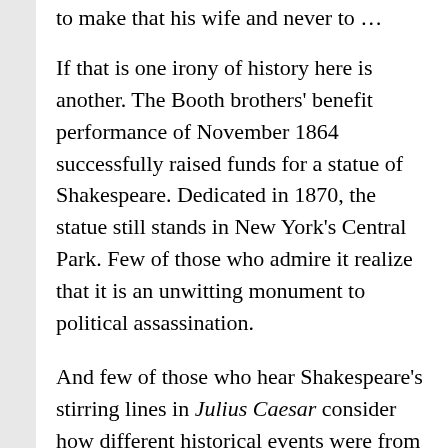to make that his wife and never to …
If that is one irony of history here is another. The Booth brothers' benefit performance of November 1864 successfully raised funds for a statue of Shakespeare. Dedicated in 1870, the statue still stands in New York's Central Park. Few of those who admire it realize that it is an unwitting monument to political assassination.
And few of those who hear Shakespeare's stirring lines in Julius Caesar consider how different historical events were from the play. The real tragedy is not the death of Brutus or Caesar but society's failure to settle